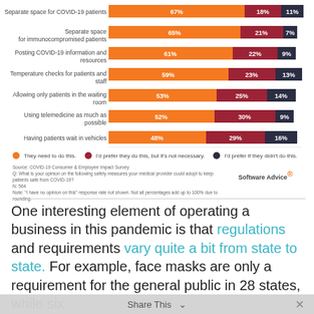[Figure (stacked-bar-chart): ]
Source: COVID-19 Consumer & Employee Impact Survey
Q: What is your opinion on the following safety measures your medical provider could adopt to keep patients safe from COVID-19?
N: 564
Note: "I have no opinion on this" response rate not shown. Not all percentages add up to 100% due to rounding.
One interesting element of operating a business in this pandemic is that regulations and requirements vary quite a bit from state to state. For example, face masks are only a requirement for the general public in 28 states, while six
Share This